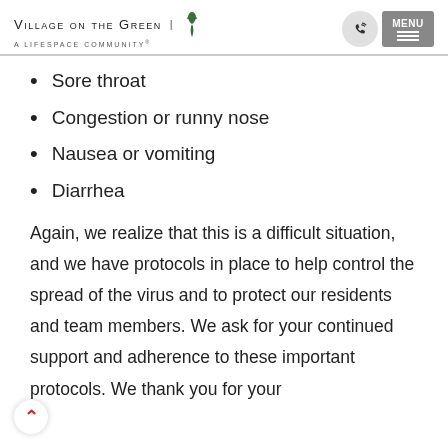Village on the Green | A Lifespace Community
Sore throat
Congestion or runny nose
Nausea or vomiting
Diarrhea
Again, we realize that this is a difficult situation, and we have protocols in place to help control the spread of the virus and to protect our residents and team members. We ask for your continued support and adherence to these important protocols. We thank you for your